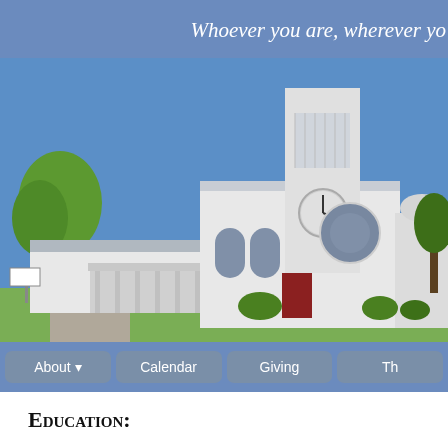Whoever you are, wherever yo
[Figure (photo): Exterior photograph of a white Christian church building with a clock tower, arched windows with red doors, a covered porch/portico, and green trees against a blue sky.]
About ▼ | Calendar | Giving | Th
Education: